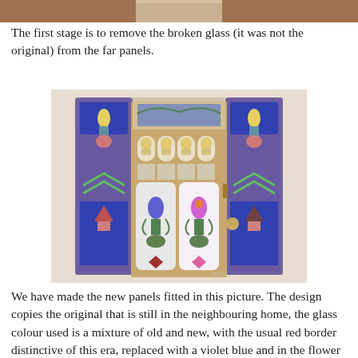[Figure (photo): Partial view of a photo cut off at the top of the page, showing what appears to be stained glass panels.]
The first stage is to remove the broken glass (it was not the original) from the far panels.
[Figure (photo): A photograph of a wooden front door with ornate stained glass panels. The door has multiple panels with floral and geometric Art Nouveau designs in blue, green, yellow, and pink. There are tall arched side panels also with stained glass designs.]
We have made the new panels fitted in this picture.  The design copies the original that is still in the neighbouring home, the glass colour used is a mixture of old and new, with the usual red border distinctive of this era, replaced with a violet blue and in the flower petals,